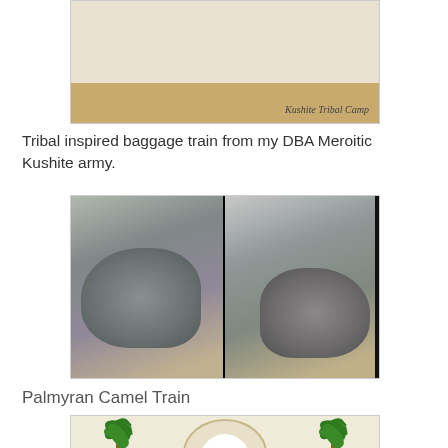[Figure (photo): Photo of a Kushite Tribal Camp miniature diorama on a sandy base with a label reading 'Kushite Tribal Camp']
Tribal inspired baggage train from my DBA Meroitic Kushite army.
[Figure (photo): Two photos of miniature wargame figures on rocky terrain bases — warriors with shields and spears on stone outcroppings, representing Meroitic Kushite baggage train]
Palmyran Camel Train
[Figure (photo): Partial photo of a Palmyran Camel Train miniature diorama featuring palm trees and an archway on a sandy base]